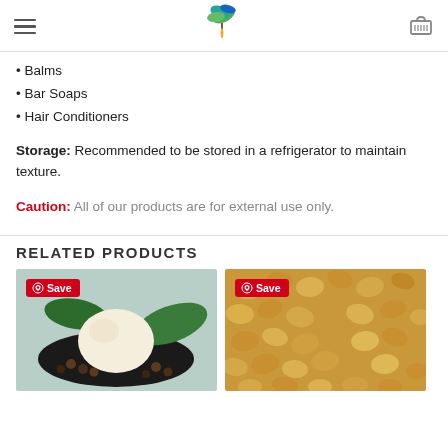Logo and navigation header
Balms
Bar Soaps
Hair Conditioners
Storage: Recommended to be stored in a refrigerator to maintain texture.
Caution: All of our products are for external use only.
RELATED PRODUCTS
[Figure (photo): White shea butter with dark nuts on a black tray with green leaves, with a red Pinterest Save button]
[Figure (photo): Close-up of golden/yellow soybeans with a red Pinterest Save button]